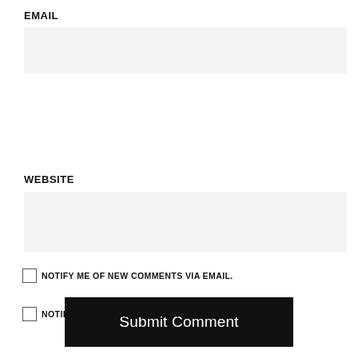EMAIL
WEBSITE
Submit Comment
NOTIFY ME OF NEW COMMENTS VIA EMAIL.
NOTIFY ME OF NEW POSTS VIA EMAIL.